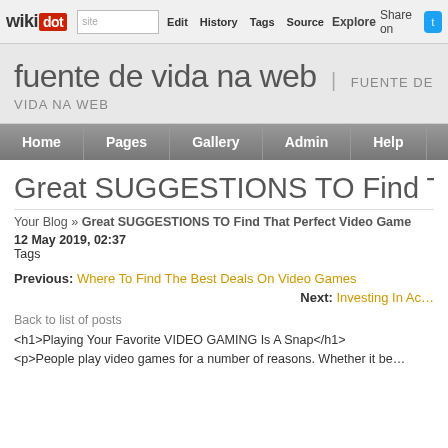wikidot | site Edit History Tags Source Explore Share on [twitter]
fuente de vida na web | FUENTE DE VIDA NA WEB
Home | Pages | Gallery | Admin | Help
Great SUGGESTIONS TO Find That Per...
Your Blog » Great SUGGESTIONS TO Find That Perfect Video Game
12 May 2019, 02:37
Tags
Previous: Where To Find The Best Deals On Video Games
Next: Investing In Ac...
Back to list of posts
<h1>Playing Your Favorite VIDEO GAMING Is A Snap</h1>
<p>People play video games for a number of reasons. Whether it be...